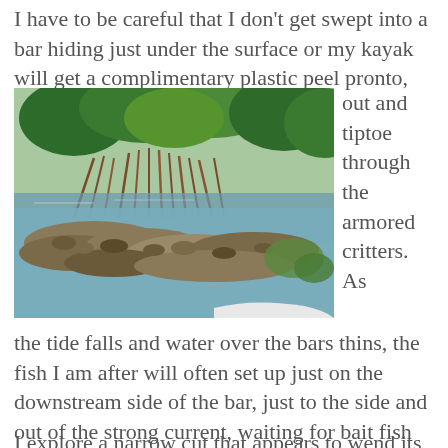I have to be careful that I don't get swept into a bar hiding just under the surface or my kayak will get a complimentary plastic peel pronto, and I'll have to get out and tiptoe through the armored critters. As the tide falls and water over the bars thins, the fish I am after will often set up just on the downstream side of the bar, just to the side and out of the strong current, waiting for bait fish to be swept right to them.
[Figure (photo): A photo of oyster bars and mangrove roots at the water's edge, with green mangrove trees in the background and rocky/shell-covered bars visible in shallow water. The bow of a kayak is visible at the bottom right.]
I explore a narrow cut that appears to wend its way